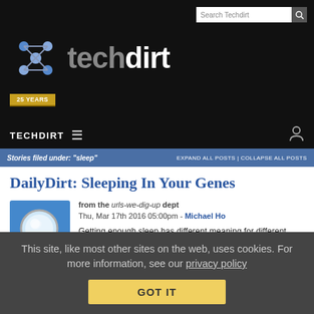Techdirt - Search Techdirt
[Figure (logo): Techdirt logo with hexagonal molecule icon and '25 YEARS' badge, white and gray text on black background]
TECHDIRT ≡  [user icon]
Stories filed under: "sleep"  EXPAND ALL POSTS | COLLAPSE ALL POSTS
DailyDirt: Sleeping In Your Genes
from the urls-we-dig-up dept
Thu, Mar 17th 2016 05:00pm - Michael Ho
[Figure (illustration): Blue square thumbnail with magnifying glass icon]
Getting enough sleep has different meaning for different people, even though most people need about 7-9 hours a night. The CDC only started looking at how much sleep Americans have been
This site, like most other sites on the web, uses cookies. For more information, see our privacy policy
GOT IT